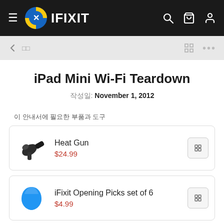IFIXIT
iPad Mini Wi-Fi Teardown
작성일: November 1, 2012
이 안내서에 필요한 부품과 도구
Heat Gun $24.99
iFixit Opening Picks set of 6 $4.99